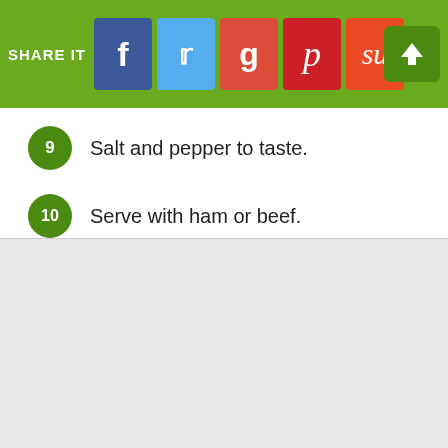SHARE IT
Salt and pepper to taste.
Serve with ham or beef.
Kitchen-Friendly View